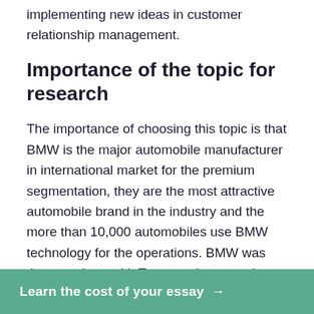implementing new ideas in customer relationship management.
Importance of the topic for research
The importance of choosing this topic is that BMW is the major automobile manufacturer in international market for the premium segmentation, they are the most attractive automobile brand in the industry and the more than 10,000 automobiles use BMW technology for the operations. BMW was the one along with Toyota to be named as the best car maker for customer satisfaction. It is a very interesting fact as BMW being the superior segment with the market dominance importance is given to... nship tools used in
Learn the cost of your essay →